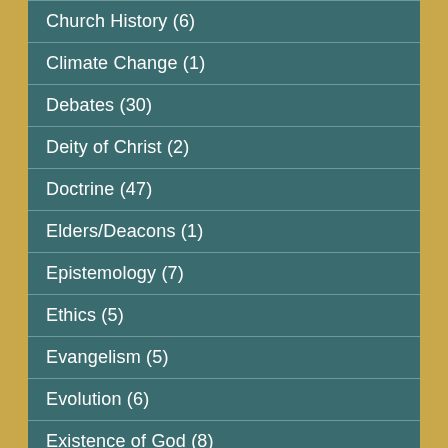Church History (6)
Climate Change (1)
Debates (30)
Deity of Christ (2)
Doctrine (47)
Elders/Deacons (1)
Epistemology (7)
Ethics (5)
Evangelism (5)
Evolution (6)
Existence of God (8)
Expository (18)
Gender (2)